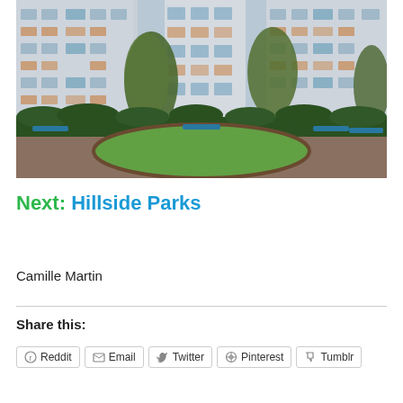[Figure (photo): Courtyard of a residential apartment complex with multiple multi-story white buildings, trees, green hedges, a grass oval area, park benches, and a brick/dirt path in the foreground.]
Next: Hillside Parks
Camille Martin
Share this:
Reddit
Email
Twitter
Pinterest
Tumblr